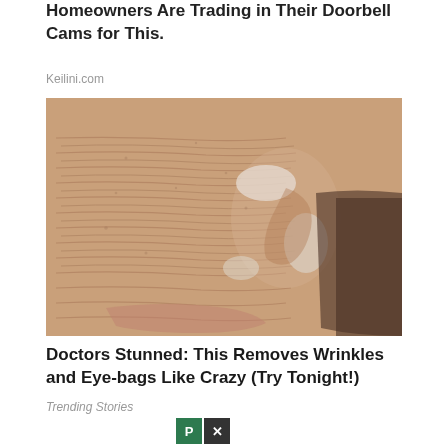Homeowners Are Trading in Their Doorbell Cams for This.
Keilini.com
[Figure (photo): Close-up photo of elderly person's face showing deeply wrinkled skin with some white cream or product applied]
Doctors Stunned: This Removes Wrinkles and Eye-bags Like Crazy (Try Tonight!)
Trending Stories